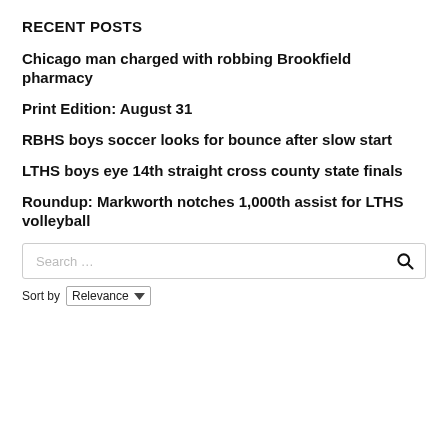RECENT POSTS
Chicago man charged with robbing Brookfield pharmacy
Print Edition: August 31
RBHS boys soccer looks for bounce after slow start
LTHS boys eye 14th straight cross county state finals
Roundup: Markworth notches 1,000th assist for LTHS volleyball
Search …
Sort by Relevance